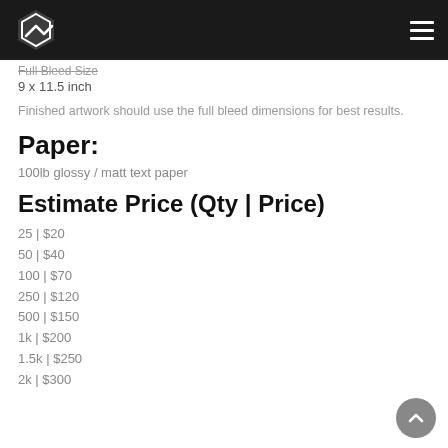Full Bleed Size
9 x 11.5 inch
Finished artwork should use the full bleed dimensions for best results.
Paper:
100lb glossy / matt text paper
Estimate Price (Qty | Price)
25 | $20
50 | $40
100 | $70
250 | $120
500 | $150
1k | $200
1.5k | $250
2k | $300